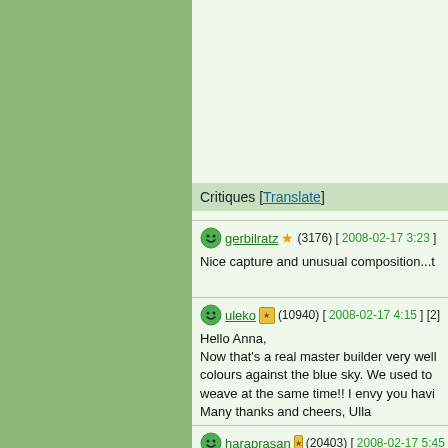Critiques [Translate]
gerbilratz ★ (3176) [2008-02-17 3:23]
Nice capture and unusual composition...t
uleko (10940) [2008-02-17 4:15] [2]
Hello Anna,
Now that's a real master builder very well colours against the blue sky. We used to weave at the same time!! I envy you havi Many thanks and cheers, Ulla
haraprasan (20403) [2008-02-17 5:45
Hi Anna,
A fine capture of this spottedback weaver Fine details. Great notes. Thanks a lot fo
eqshannon (31141) [2008-02-17 6:51
I certainly have never seen this, nor hear documented. A complete lesson. You are a quiet Sunday here in the foggy western Bob